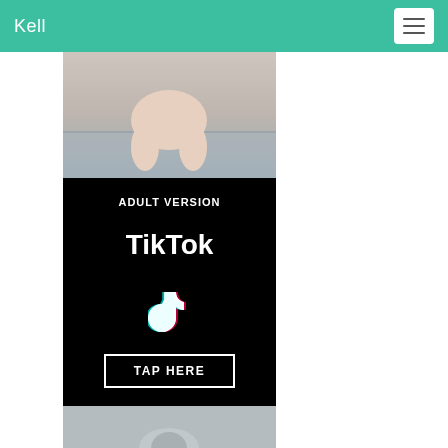Kell
[Figure (photo): Top portion of a photo showing a person on a patterned blanket/bed]
[Figure (infographic): Black background advertisement banner reading ADULT VERSION TikTok with TikTok logo and TAP HERE button]
[Figure (photo): Bottom portion of a photo, partially visible, showing a person]